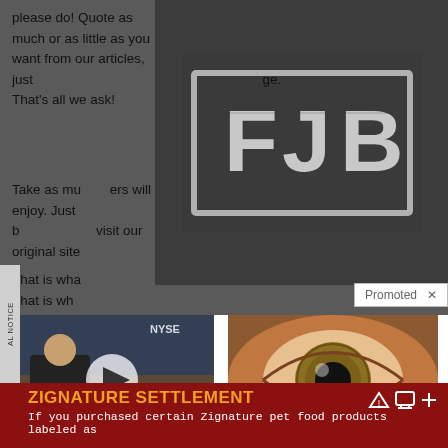please do! Quote as much or as little as you want from our articles, just … ge. That's all we ask!
[Figure (photo): Dark t-shirt with 'FJB' text in a distressed block letter style, overlaid on the article content]
Take as mu… ers will enjoy. Just b… visit our original site…
That is wha…
That is wh…
Promoted ×
[Figure (photo): Video thumbnail showing a man in a suit on a TV set with NYSE visible, with a play button overlay]
Biden Probably Wants This Video Destroyed — Drastic Changes Happening To The US…
[Figure (photo): Close-up photo of a human eye with detailed iris visible]
How Your Body Warns You That Dementia Is Forming
AL NOTICE
ZIGNATURE SETTLEMENT
If you purchased certain Zignature pet food products labeled as…